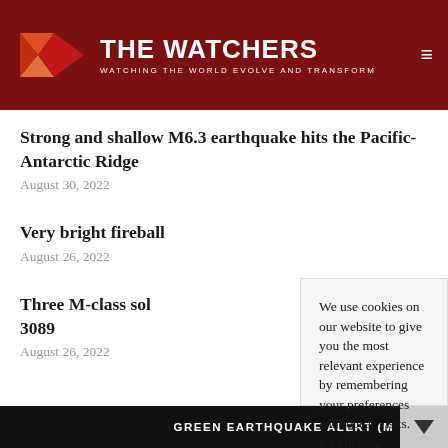THE WATCHERS — WATCHING THE WORLD EVOLVE AND TRANSFORM
Strong and shallow M6.3 earthquake hits the Pacific-Antarctic Ridge
August 30, 2022
Very bright fireball
August 26, 2022
Three M-class sol... 3089
August 26, 2022
We use cookies on our website to give you the most relevant experience by remembering your preferences and repeat visits. By clicking “Accept”, you consent to the use of ALL the cookies.
Do not sell my personal information.
Cookie settings | Accept
GREEN EARTHQUAKE ALERT (M